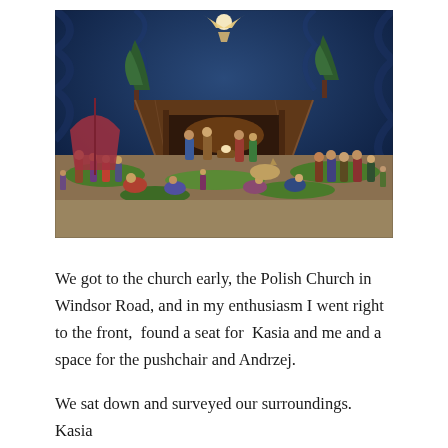[Figure (photo): A nativity scene display with many figurines arranged under a thatched stable structure. The background features blue draped fabric with an angel figure suspended at the top. The scene includes numerous figurines of people, animals, and greenery arranged on a sandy/rocky base.]
We got to the church early, the Polish Church in Windsor Road, and in my enthusiasm I went right to the front,  found a seat for  Kasia and me and a space for the pushchair and Andrzej.
We sat down and surveyed our surroundings. Kasia